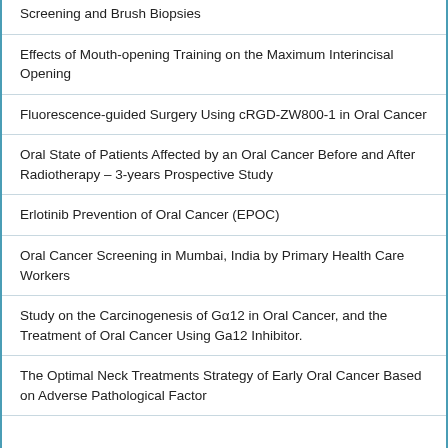Screening and Brush Biopsies
Effects of Mouth-opening Training on the Maximum Interincisal Opening
Fluorescence-guided Surgery Using cRGD-ZW800-1 in Oral Cancer
Oral State of Patients Affected by an Oral Cancer Before and After Radiotherapy – 3-years Prospective Study
Erlotinib Prevention of Oral Cancer (EPOC)
Oral Cancer Screening in Mumbai, India by Primary Health Care Workers
Study on the Carcinogenesis of Gα12 in Oral Cancer, and the Treatment of Oral Cancer Using Ga12 Inhibitor.
The Optimal Neck Treatments Strategy of Early Oral Cancer Based on Adverse Pathological Factor